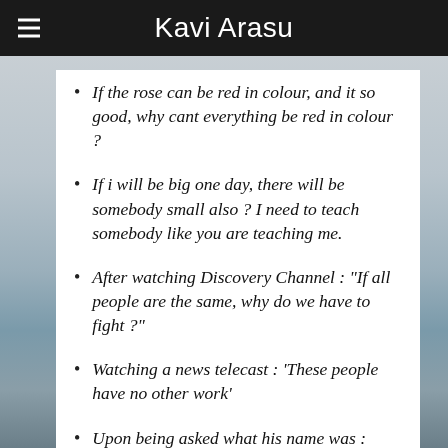Kavi Arasu
If the rose can be red in colour, and it so good, why cant everything be red in colour ?
If i will be big one day, there will be somebody small also ? I need to teach somebody like you are teaching me.
After watching Discovery Channel : “If all people are the same, why do we have to fight ?”
Watching a news telecast : ‘These people have no other work’
Upon being asked what his name was : ‘You are the 10th person asking my name today. Please